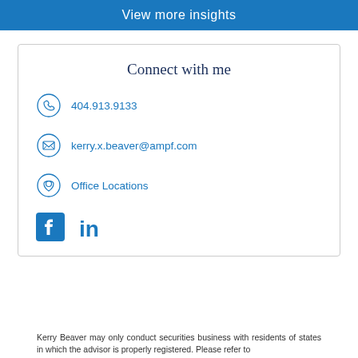View more insights
Connect with me
404.913.9133
kerry.x.beaver@ampf.com
Office Locations
[Figure (logo): Facebook and LinkedIn social media icons]
Kerry Beaver may only conduct securities business with residents of states in which the advisor is properly registered. Please refer to